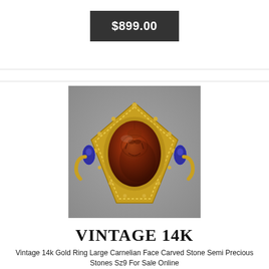$899.00
[Figure (photo): Vintage 14k gold ring with large carnelian face carved stone and semi precious stones, photographed against a gray background. The ring has an ornate diamond-shaped gold setting with blue accent stones on the sides.]
VINTAGE 14K
Vintage 14k Gold Ring Large Carnelian Face Carved Stone Semi Precious Stones Sz9 For Sale Online